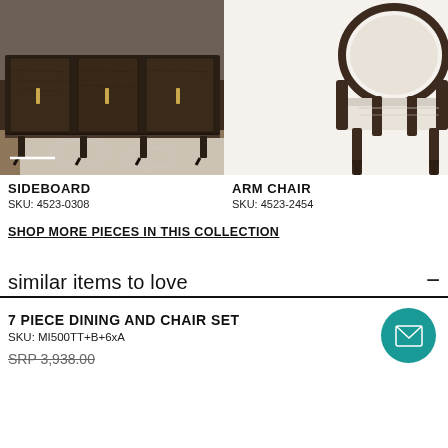[Figure (photo): Dark wood sideboard with gold handles on hardwood floor with patterned rug, white line accent at bottom left]
[Figure (photo): Arm chair with dark wood frame and cream upholstered seat and back, partially visible]
SIDEBOARD
SKU: 4523-0308
ARM CHAIR
SKU: 4523-2454
SHOP MORE PIECES IN THIS COLLECTION
similar items to love
7 PIECE DINING AND CHAIR SET
SKU: MI500TT+B+6xA
SRP 3,938.00